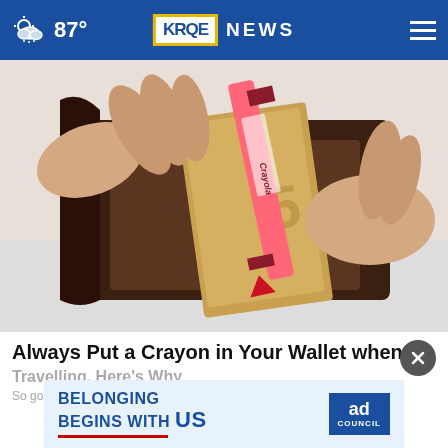KRQE NEWS — 87°
[Figure (photo): Hands opening a brown leather wallet with a pink Crayola crayon inside along with euro banknotes, on a white background]
Always Put a Crayon in Your Wallet when Travelling, Here's Why
So go...
[Figure (infographic): Ad Council advertisement — BELONGING BEGINS WITH US with red underline]